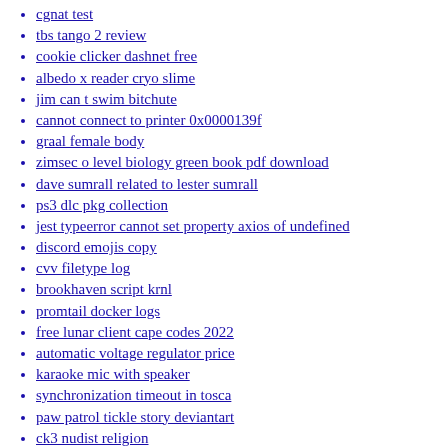cgnat test
tbs tango 2 review
cookie clicker dashnet free
albedo x reader cryo slime
jim can t swim bitchute
cannot connect to printer 0x0000139f
graal female body
zimsec o level biology green book pdf download
dave sumrall related to lester sumrall
ps3 dlc pkg collection
jest typeerror cannot set property axios of undefined
discord emojis copy
cvv filetype log
brookhaven script krnl
promtail docker logs
free lunar client cape codes 2022
automatic voltage regulator price
karaoke mic with speaker
synchronization timeout in tosca
paw patrol tickle story deviantart
ck3 nudist religion
waydroid gapps
experiment timeline
cannot convert from string to newtonsoft json jsonreader
download vaccination certificate